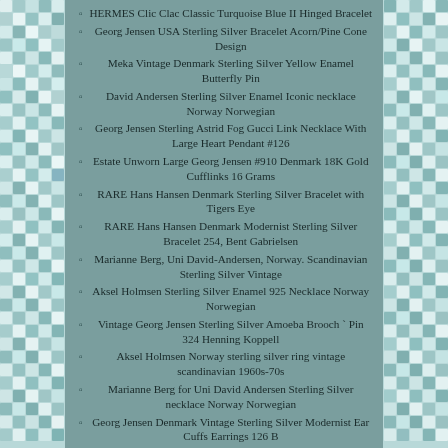HERMES Clic Clac Classic Turquoise Blue II Hinged Bracelet
Georg Jensen USA Sterling Silver Bracelet Acorn/Pine Cone Design
Meka Vintage Denmark Sterling Silver Yellow Enamel Butterfly Pin
David Andersen Sterling Silver Enamel Iconic necklace Norway Norwegian
Georg Jensen Sterling Astrid Fog Gucci Link Necklace With Large Heart Pendant #126
Estate Unworn Large Georg Jensen #910 Denmark 18K Gold Cufflinks 16 Grams
RARE Hans Hansen Denmark Sterling Silver Bracelet with Tigers Eye
RARE Hans Hansen Denmark Modernist Sterling Silver Bracelet 254, Bent Gabrielsen
Marianne Berg, Uni David-Andersen, Norway. Scandinavian Sterling Silver Vintage
Aksel Holmsen Sterling Silver Enamel 925 Necklace Norway Norwegian
Vintage Georg Jensen Sterling Silver Amoeba Brooch ` Pin 324 Henning Koppell
Aksel Holmsen Norway sterling silver ring vintage scandinavian 1960s-70s
Marianne Berg for Uni David Andersen Sterling Silver necklace Norway Norwegian
Georg Jensen Denmark Vintage Sterling Silver Modernist Ear Cuffs Earrings 126 B
Day In The Life Of A Fashion Designer Behind The Scenes Justine Leconte